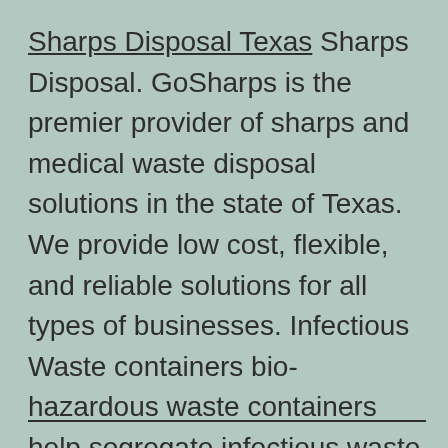Sharps Disposal Texas Sharps Disposal. GoSharps is the premier provider of sharps and medical waste disposal solutions in the state of Texas. We provide low cost, flexible, and reliable solutions for all types of businesses. Infectious Waste containers bio-hazardous waste containers help segregate infectious waste and keep workers safe from exposure. follow safety
—